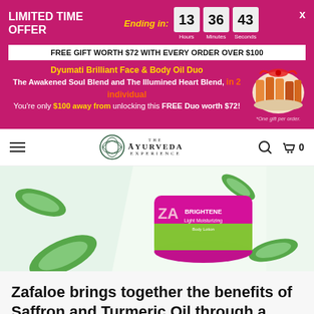LIMITED TIME OFFER — Ending in: 13 Hours 36 Minutes 43 Seconds — X
FREE GIFT WORTH $72 WITH EVERY ORDER OVER $100
Dyumati Brilliant Face & Body Oil Duo The Awakened Soul Blend and The Illumined Heart Blend, in 2 individual You're only $100 away from unlocking this FREE Duo worth $72! *One gift per order.
[Figure (photo): Gift set bottles with bow ribbon]
[Figure (photo): Zafaloe brightening body lotion container with aloe vera slices on light green background]
Zafaloe brings together the benefits of Saffron and Turmeric Oil through a light, airy, whipped-texture, colourless lotion that